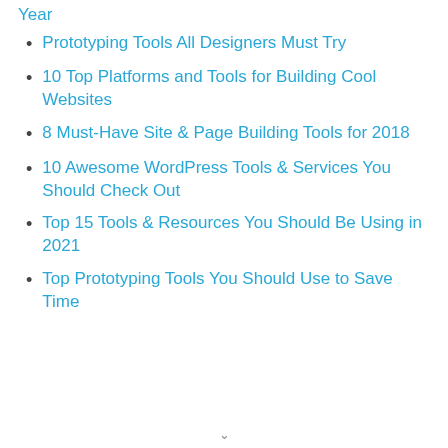Year
Prototyping Tools All Designers Must Try
10 Top Platforms and Tools for Building Cool Websites
8 Must-Have Site & Page Building Tools for 2018
10 Awesome WordPress Tools & Services You Should Check Out
Top 15 Tools & Resources You Should Be Using in 2021
Top Prototyping Tools You Should Use to Save Time